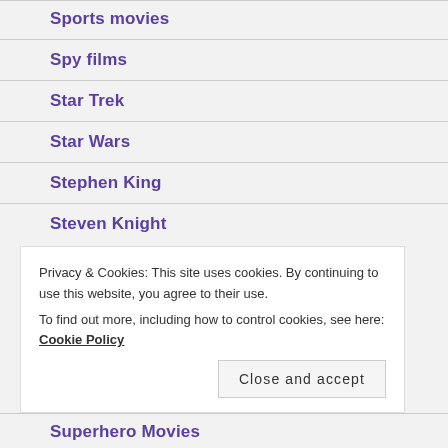Sports movies
Spy films
Star Trek
Star Wars
Stephen King
Steven Knight
Privacy & Cookies: This site uses cookies. By continuing to use this website, you agree to their use.
To find out more, including how to control cookies, see here: Cookie Policy
Superhero Movies